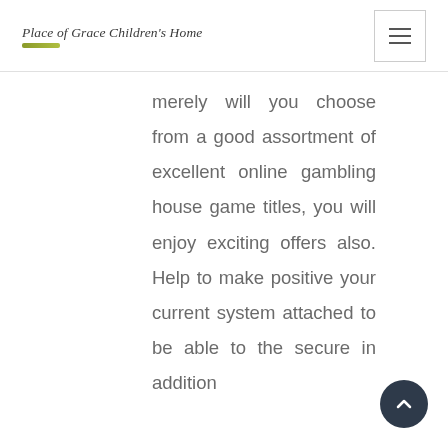Place of Grace Children's Home
merely will you choose from a good assortment of excellent online gambling house game titles, you will enjoy exciting offers also. Help to make positive your current system attached to be able to the secure in addition